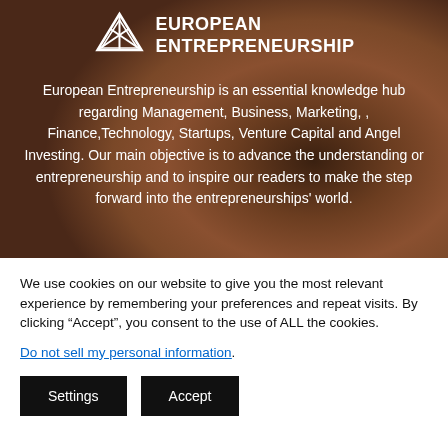[Figure (logo): European Entrepreneurship logo with geometric triangular icon and text 'EUROPEAN ENTREPRENEURSHIP' in white on dark background]
European Entrepreneurship is an essential knowledge hub regarding Management, Business, Marketing, , Finance,Technology, Startups, Venture Capital and Angel Investing. Our main objective is to advance the understanding or entrepreneurship and to inspire our readers to make the step forward into the entrepreneurships' world.
We use cookies on our website to give you the most relevant experience by remembering your preferences and repeat visits. By clicking “Accept”, you consent to the use of ALL the cookies.
Do not sell my personal information.
Settings  Accept